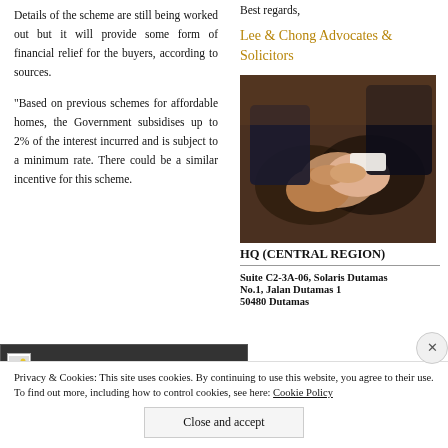Details of the scheme are still being worked out but it will provide some form of financial relief for the buyers, according to sources.
"Based on previous schemes for affordable homes, the Government subsidises up to 2% of the interest incurred and is subject to a minimum rate. There could be a similar incentive for this scheme.
Best regards,
Lee & Chong Advocates & Solicitors
[Figure (photo): Two people shaking hands in business attire]
HQ (CENTRAL REGION)
Suite C2-3A-06, Solaris Dutamas
No.1, Jalan Dutamas 1
50480 Dutamas
[Figure (photo): Small image placeholder in dark strip]
Privacy & Cookies: This site uses cookies. By continuing to use this website, you agree to their use.
To find out more, including how to control cookies, see here: Cookie Policy
Close and accept